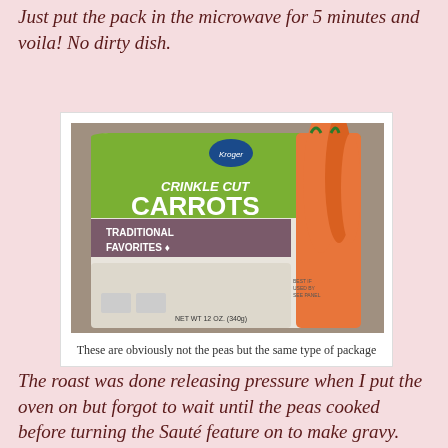Just put the pack in the microwave for 5 minutes and voila! No dirty dish.
[Figure (photo): Photo of a Kroger brand Crinkle Cut Carrots frozen vegetable bag with orange carrots visible through the packaging. The package is white and green with text reading 'CRINKLE CUT CARROTS' and 'TRADITIONAL FAVORITES'. Net Wt 12 oz shown at bottom.]
These are obviously not the peas but the same type of package
The roast was done releasing pressure when I put the oven on but forgot to wait until the peas cooked before turning the Sauté feature on to make gravy. Crap! I tripped a breaker. I finished the gravy on the stove and because no one was home, we switched our inverter and used our batteries. I felt bad because Kirk uses that same